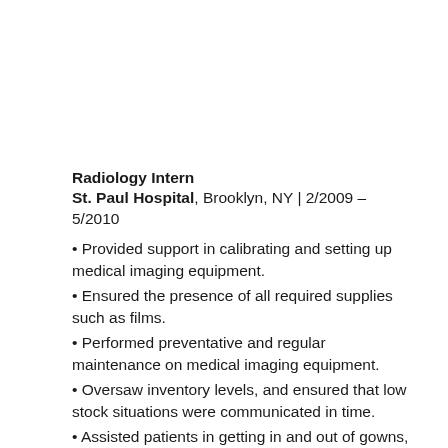Radiology Intern
St. Paul Hospital, Brooklyn, NY | 2/2009 – 5/2010
Provided support in calibrating and setting up medical imaging equipment.
Ensured the presence of all required supplies such as films.
Performed preventative and regular maintenance on medical imaging equipment.
Oversaw inventory levels, and ensured that low stock situations were communicated in time.
Assisted patients in getting in and out of gowns, and provided them with insight into what they should